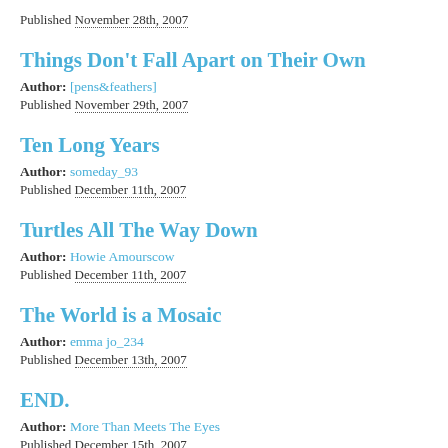Published November 28th, 2007
Things Don't Fall Apart on Their Own
Author: [pens&feathers]
Published November 29th, 2007
Ten Long Years
Author: someday_93
Published December 11th, 2007
Turtles All The Way Down
Author: Howie Amourscow
Published December 11th, 2007
The World is a Mosaic
Author: emma jo_234
Published December 13th, 2007
END.
Author: More Than Meets The Eyes
Published December 15th, 2007